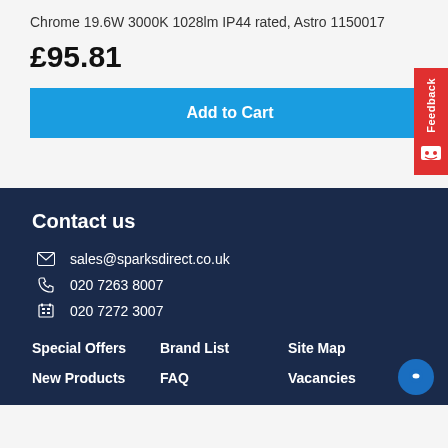Chrome 19.6W 3000K 1028lm IP44 rated, Astro 1150017
£95.81
Add to Cart
Contact us
sales@sparksdirect.co.uk
020 7263 8007
020 7272 3007
Special Offers
Brand List
Site Map
New Products
FAQ
Vacancies